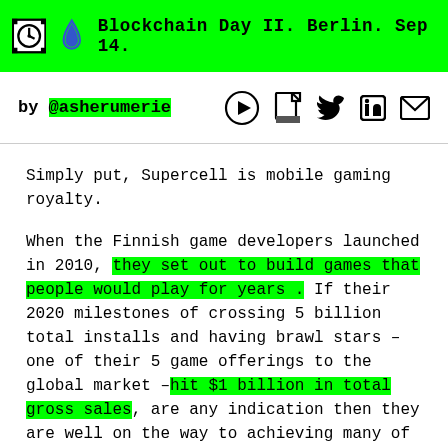Blockchain Day II. Berlin. Sep 14.
by @asherumerie
Simply put, Supercell is mobile gaming royalty.
When the Finnish game developers launched in 2010, they set out to build games that people would play for years . If their 2020 milestones of crossing 5 billion total installs and having brawl stars – one of their 5 game offerings to the global market –hit $1 billion in total gross sales, are any indication then they are well on the way to achieving many of their initial goals.
The Magic of Clash of Clans